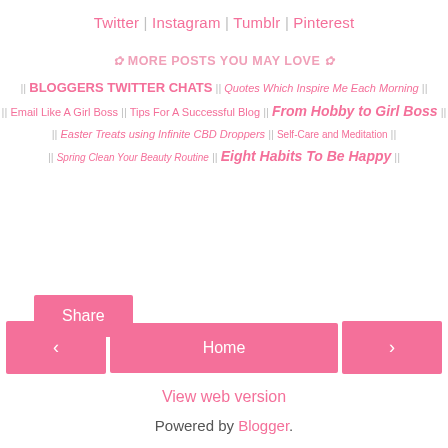Twitter | Instagram | Tumblr | Pinterest
✿ MORE POSTS YOU MAY LOVE ✿
|| BLOGGERS TWITTER CHATS || Quotes Which Inspire Me Each Morning ||
|| Email Like A Girl Boss || Tips For A Successful Blog || From Hobby to Girl Boss ||
|| Easter Treats using Infinite CBD Droppers || Self-Care and Meditation ||
|| Spring Clean Your Beauty Routine || Eight Habits To Be Happy ||
Share
< Home >
View web version
Powered by Blogger.